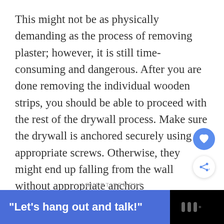This might not be as physically demanding as the process of removing plaster; however, it is still time-consuming and dangerous. After you are done removing the individual wooden strips, you should be able to proceed with the rest of the drywall process. Make sure the drywall is anchored securely using appropriate screws. Otherwise, they might end up falling from the wall without appropriate anchors
ADVERTISEMENT
[Figure (other): Advertisement banner with blue background reading 'Let's hang out and talk!' with a logo on the right side on black background]